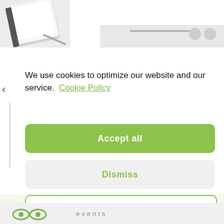[Figure (screenshot): Top area showing partial book/notebook image on left and partial product images on the right, partially visible]
We use cookies to optimize our website and our service.  Cookie Policy
[Figure (other): Green 'Accept all' button]
[Figure (other): Light grey 'Dismiss' button with green text]
[Figure (other): White 'Preferences' button with green border and green text]
[Figure (logo): Footer with two eye-shaped green icons and the word 'events' in grey spaced letters]